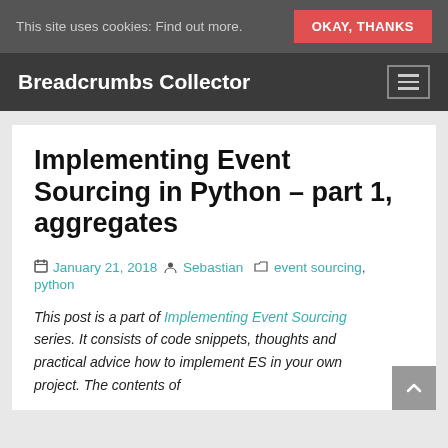This site uses cookies: Find out more.   OKAY, THANKS
Breadcrumbs Collector
Implementing Event Sourcing in Python – part 1, aggregates
January 21, 2018   Sebastian   event sourcing,   python
This post is a part of Implementing Event Sourcing series. It consists of code snippets, thoughts and practical advice how to implement ES in your own project. The contents of